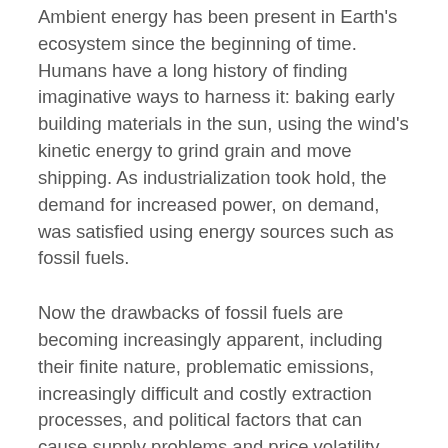Ambient energy has been present in Earth's ecosystem since the beginning of time. Humans have a long history of finding imaginative ways to harness it: baking early building materials in the sun, using the wind's kinetic energy to grind grain and move shipping. As industrialization took hold, the demand for increased power, on demand, was satisfied using energy sources such as fossil fuels.
Now the drawbacks of fossil fuels are becoming increasingly apparent, including their finite nature, problematic emissions, increasingly difficult and costly extraction processes, and political factors that can cause supply problems and price volatility. The pendulum is swinging back towards ambient sources.
The global market for harvesting ambient energy